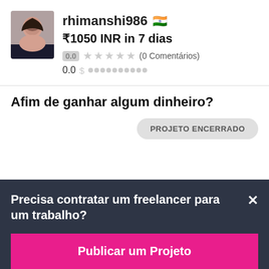[Figure (photo): Profile avatar photo of rhimanshi986, a young woman]
rhimanshi986 🇮🇳
₹1050 INR in 7 dias
0.0 ★★★★★ (0 Comentários)
0.0 $
Afim de ganhar algum dinheiro?
PROJETO ENCERRADO
Precisa contratar um freelancer para um trabalho?
Publicar um Projeto